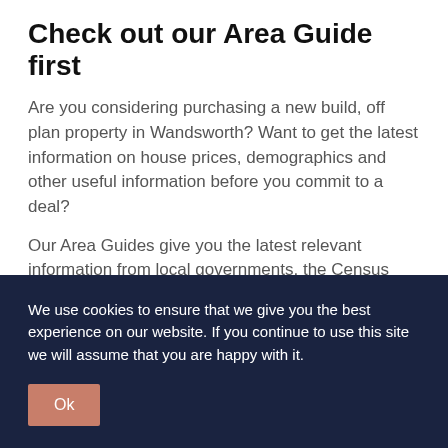Check out our Area Guide first
Are you considering purchasing a new build, off plan property in Wandsworth? Want to get the latest information on house prices, demographics and other useful information before you commit to a deal?
Our Area Guides give you the latest relevant information from local governments, the Census and the Office of
We use cookies to ensure that we give you the best experience on our website. If you continue to use this site we will assume that you are happy with it.
Ok